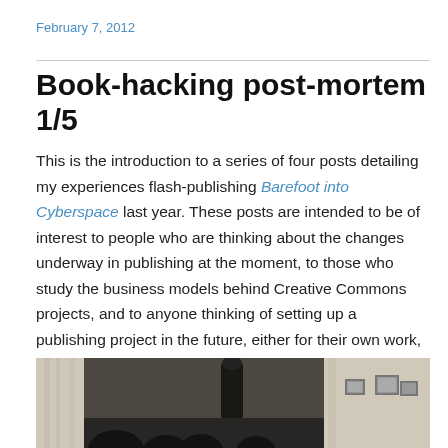February 7, 2012
Book-hacking post-mortem 1/5
This is the introduction to a series of four posts detailing my experiences flash-publishing Barefoot into Cyberspace last year. These posts are intended to be of interest to people who are thinking about the changes underway in publishing at the moment, to those who study the business models behind Creative Commons projects, and to anyone thinking of setting up a publishing project in the future, either for their own work, or for somebody else.
[Figure (photo): Indoor event photo showing a dark interior scene with curtains, a speaker/microphone in the background, and silhouettes of people in the foreground. Framed pictures visible on the right wall.]